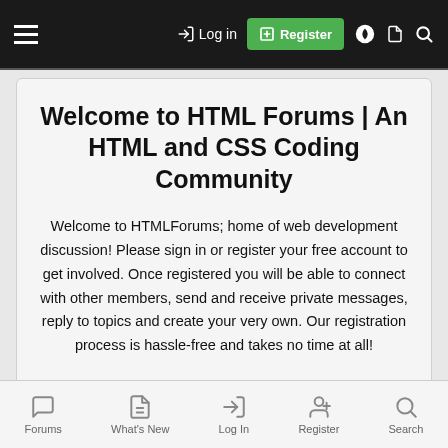≡  →) Log in  ⊞ Register  ◐  🗋  🔍
Welcome to HTML Forums | An HTML and CSS Coding Community
Welcome to HTMLForums; home of web development discussion! Please sign in or register your free account to get involved. Once registered you will be able to connect with other members, send and receive private messages, reply to topics and create your very own. Our registration process is hassle-free and takes no time at all!
+ Register   🔑 Log in
Forums  What's New  Log In  Register  Search